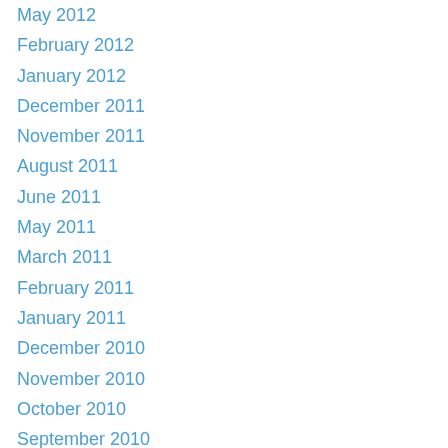May 2012
February 2012
January 2012
December 2011
November 2011
August 2011
June 2011
May 2011
March 2011
February 2011
January 2011
December 2010
November 2010
October 2010
September 2010
August 2010
July 2010
June 2010
May 2010
April 2010